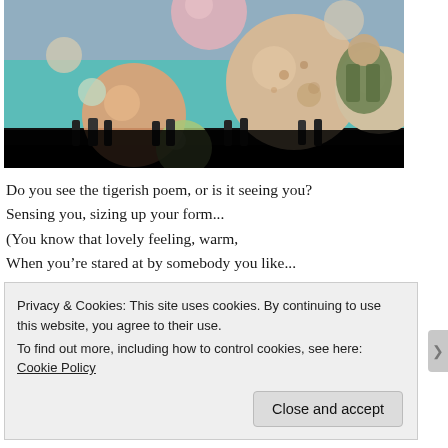[Figure (photo): A person viewed from behind standing in front of a large installation with many spherical objects of various sizes on a teal/turquoise surface, with spray paint cans lined up in the foreground. The bottom of the image fades to black.]
Do you see the tigerish poem, or is it seeing you?
Sensing you, sizing up your form...
(You know that lovely feeling, warm,
When you’re stared at by somebody you like...
Privacy & Cookies: This site uses cookies. By continuing to use this website, you agree to their use.
To find out more, including how to control cookies, see here: Cookie Policy
Close and accept